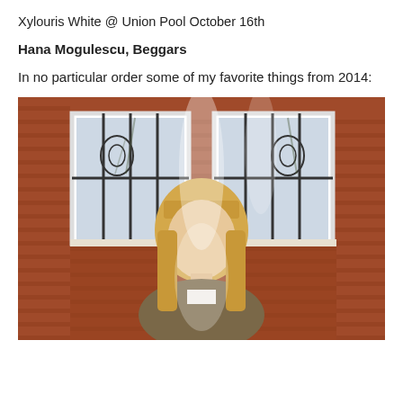Xylouris White @ Union Pool October 16th
Hana Mogulescu, Beggars
In no particular order some of my favorite things from 2014:
[Figure (photo): A young woman with blonde hair and bangs stands in front of a brick building with barred windows. The image has a dreamy, washed-out quality with light flares or translucent overlays. She is wearing a jacket and looking directly at the camera.]